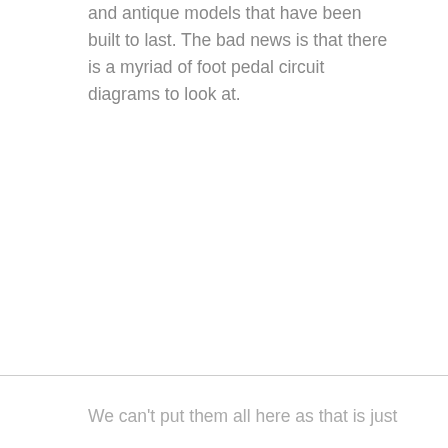and antique models that have been built to last. The bad news is that there is a myriad of foot pedal circuit diagrams to look at.
We can't put them all here as that is just